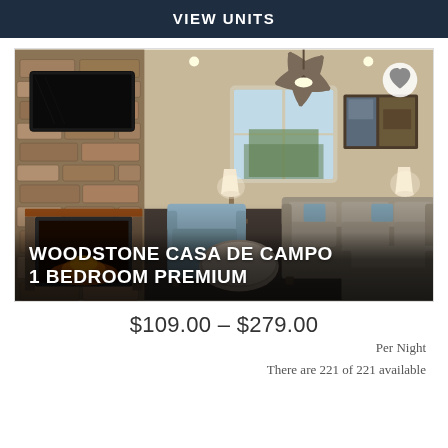VIEW UNITS
[Figure (photo): Interior photo of a hotel/resort suite living room with stone fireplace, flat-screen TV, ceiling fan, two lamps, sofa, armchairs, and round coffee table. Text overlay reads: WOODSTONE CASA DE CAMPO 1 BEDROOM PREMIUM]
$109.00 – $279.00
Per Night
There are 221 of 221 available